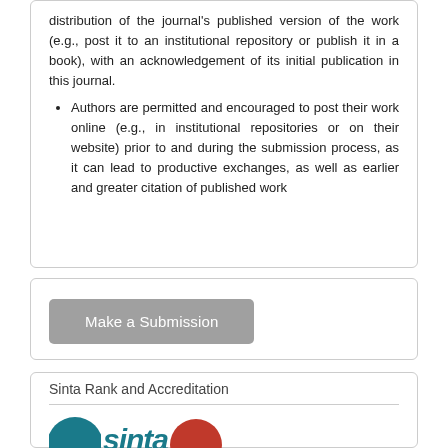distribution of the journal's published version of the work (e.g., post it to an institutional repository or publish it in a book), with an acknowledgement of its initial publication in this journal.
Authors are permitted and encouraged to post their work online (e.g., in institutional repositories or on their website) prior to and during the submission process, as it can lead to productive exchanges, as well as earlier and greater citation of published work
[Figure (screenshot): Make a Submission button — grey rounded rectangle button with white text]
Sinta Rank and Accreditation
[Figure (logo): Sinta rank and accreditation logos — teal circle logo on left, Sinta italic text in teal in center, partial red circle logo on right]